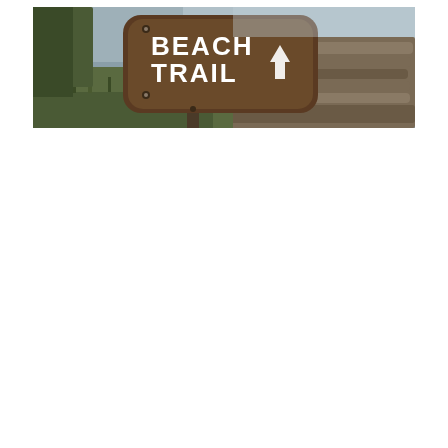[Figure (photo): Outdoor photograph of a brown wooden trail sign reading 'BEACH TRAIL' with a white hiker/arrow symbol, mounted on a post. Background shows driftwood logs piled on a beach with overcast sky and ocean in the distance.]